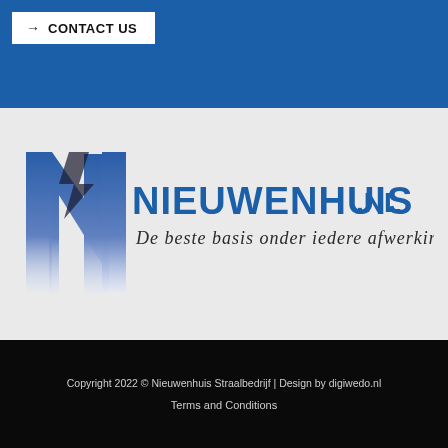→ CONTACT US
[Figure (logo): Nieuwenhuis.nl company logo with large stylized N letter gradient from white to dark blue, bold text NIEUWENHUIS.NL and tagline De beste basis onder iedere afwerking!]
Copyright 2022 © Nieuwenhuis Straalbedrijf | Design by digiwedo.nl
Terms and Conditions